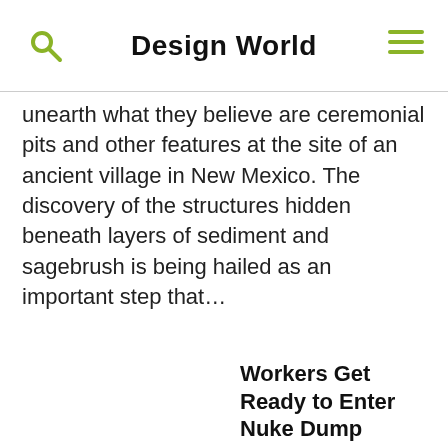Design World
unearth what they believe are ceremonial pits and other features at the site of an ancient village in New Mexico. The discovery of the structures hidden beneath layers of sediment and sagebrush is being hailed as an important step that…
Workers Get Ready to Enter Nuke Dump